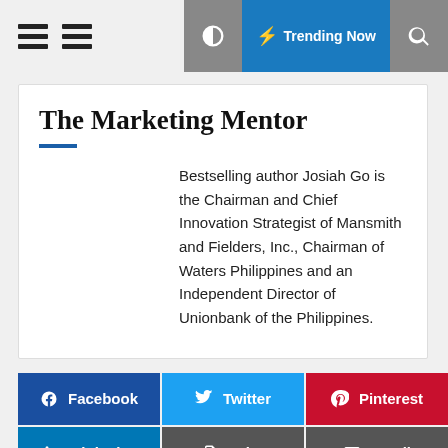The Marketing Mentor — website header with hamburger menus, Trending Now button, and search icon
The Marketing Mentor
Bestselling author Josiah Go is the Chairman and Chief Innovation Strategist of Mansmith and Fielders, Inc., Chairman of Waters Philippines and an Independent Director of Unionbank of the Philippines.
Facebook
Twitter
Pinterest
LinkedIn
Print
Email